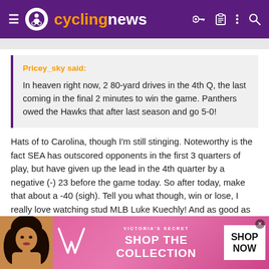cyclingnews
Pricey_sky said:
In heaven right now, 2 80-yard drives in the 4th Q, the last coming in the final 2 minutes to win the game. Panthers owed the Hawks that after last season and go 5-0!
Hats of to Carolina, though I'm still stinging. Noteworthy is the fact SEA has outscored opponents in the first 3 quarters of play, but have given up the lead in the 4th quarter by a negative (-) 23 before the game today. So after today, make that about a -40 (sigh). Tell you what though, win or lose, I really love watching stud MLB Luke Kuechly! And as good as SEA MLB Bobby Wagner is (who was out today), still wish SEA had Kuechly (sorry BWagz).
[Figure (advertisement): Victoria's Secret advertisement banner with a woman's photo, VS logo, and 'SHOP THE COLLECTION / SHOP NOW' text]